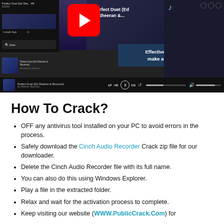[Figure (screenshot): Screenshot of a Spotify/music streaming interface with a YouTube overlay showing 'Perfect Duet (Ed Sheeran &...' and an advertisement banner reading 'Effective communicators make an effective team']
How To Crack?
OFF any antivirus tool installed on your PC to avoid errors in the process.
Safely download the Cinch Audio Recorder Crack zip file for our downloader.
Delete the Cinch Audio Recorder file with its full name.
You can also do this using Windows Explorer.
Play a file in the extracted folder.
Relax and wait for the activation process to complete.
Keep visiting our website (WWW.PublicCrack.Com) for